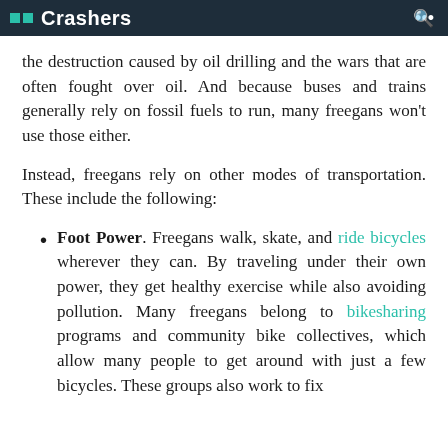Crashers
the destruction caused by oil drilling and the wars that are often fought over oil. And because buses and trains generally rely on fossil fuels to run, many freegans won't use those either.
Instead, freegans rely on other modes of transportation. These include the following:
Foot Power. Freegans walk, skate, and ride bicycles wherever they can. By traveling under their own power, they get healthy exercise while also avoiding pollution. Many freegans belong to bikesharing programs and community bike collectives, which allow many people to get around with just a few bicycles. These groups also work to fix